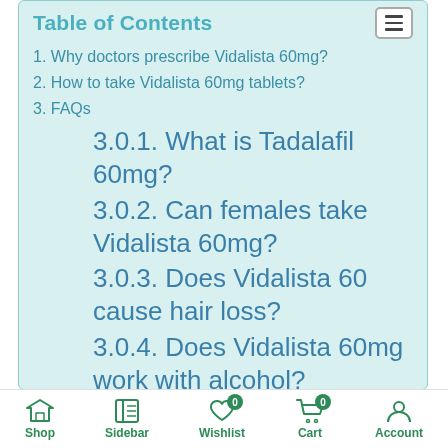Table of Contents
1. Why doctors prescribe Vidalista 60mg?
2. How to take Vidalista 60mg tablets?
3. FAQs
3.0.1. What is Tadalafil 60mg?
3.0.2. Can females take Vidalista 60mg?
3.0.3. Does Vidalista 60 cause hair loss?
3.0.4. Does Vidalista 60mg work with alcohol?
3.0.5. How to take Vidalista
Shop  Sidebar  Wishlist 0  Cart 0  Account